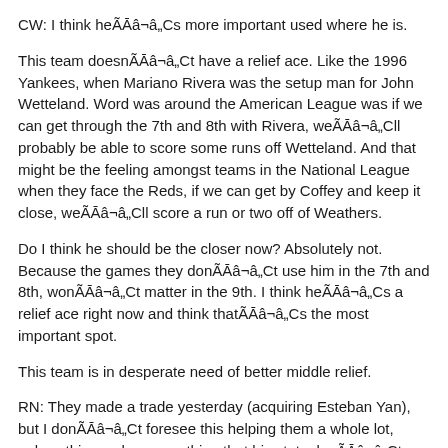CW: I think heÃ¢â‚¬â„¢s more important used where he is.
This team doesnÃ¢â‚¬â„¢t have a relief ace. Like the 1996 Yankees, when Mariano Rivera was the setup man for John Wetteland. Word was around the American League was if we can get through the 7th and 8th with Rivera, weÃ¢â‚¬â„¢ll probably be able to score some runs off Wetteland. And that might be the feeling amongst teams in the National League when they face the Reds, if we can get by Coffey and keep it close, weÃ¢â‚¬â„¢ll score a run or two off of Weathers.
Do I think he should be the closer now? Absolutely not. Because the games they donÃ¢â‚¬â„¢t use him in the 7th and 8th, wonÃ¢â‚¬â„¢t matter in the 9th. I think heÃ¢â‚¬â„¢s a relief ace right now and think thatÃ¢â‚¬â„¢s the most important spot.
This team is in desperate need of better middle relief.
RN: They made a trade yesterday (acquiring Esteban Yan), but I donÃ¢â‚¬â„¢t foresee this helping them a whole lot, unless this guy has something that his stats donÃ¢â‚¬â„¢t show.
CW: It improves arm speed and stuff.